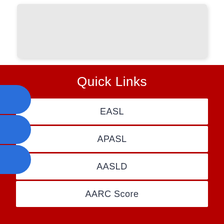[Figure (screenshot): Gray rounded rectangle placeholder box at top of page]
Quick Links
EASL
APASL
AASLD
AARC Score